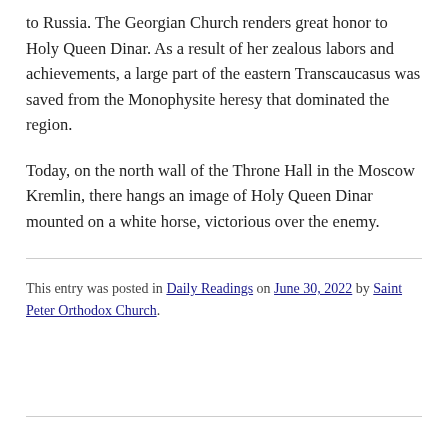to Russia. The Georgian Church renders great honor to Holy Queen Dinar. As a result of her zealous labors and achievements, a large part of the eastern Transcaucasus was saved from the Monophysite heresy that dominated the region.
Today, on the north wall of the Throne Hall in the Moscow Kremlin, there hangs an image of Holy Queen Dinar mounted on a white horse, victorious over the enemy.
This entry was posted in Daily Readings on June 30, 2022 by Saint Peter Orthodox Church.